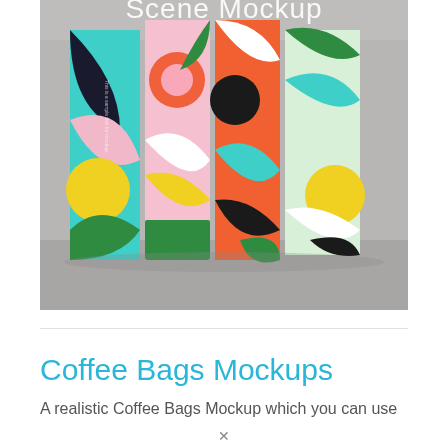[Figure (photo): Colorful geometric patterned boxes/books arranged side by side on a surface, with text 'Scene Mockup' visible across the spines. The boxes feature bold graphic designs with circles, arcs in teal, pink, orange, green, yellow, black, and white colors.]
Coffee Bags Mockups
A realistic Coffee Bags Mockup which you can use